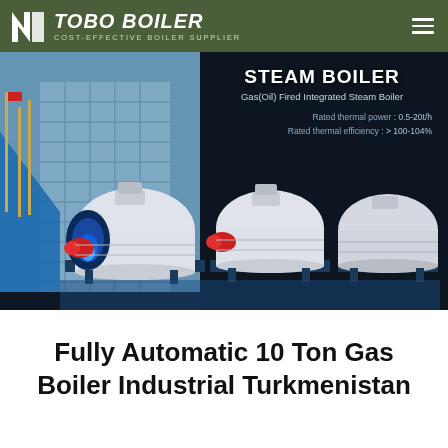TOBO BOILER – COST-EFFECTIVE BOILER SUPPLIER
[Figure (photo): Banner image showing industrial boiler products: left side shows a building with flags (architectural photo), right side shows three industrial steam boiler units in white/blue against dark background. Overlay text reads: STEAM BOILER, Gas(Oil) Fired Integrated Steam Boiler, Rated thermal power: 0.5-20t/h, Rated thermal efficiency: >100-104%]
Fully Automatic 10 Ton Gas Boiler Industrial Turkmenistan